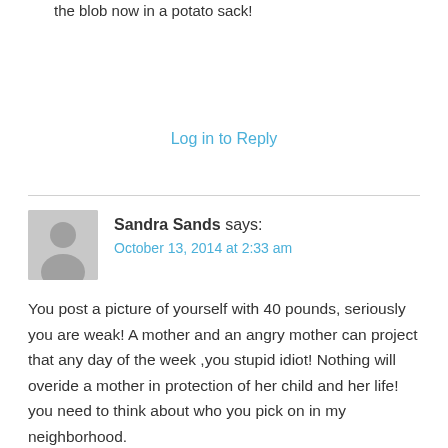the blob now in a potato sack!
Log in to Reply
Sandra Sands says:
October 13, 2014 at 2:33 am
You post a picture of yourself with 40 pounds, seriously you are weak! A mother and an angry mother can project that any day of the week ,you stupid idiot! Nothing will overide a mother in protection of her child and her life! you need to think about who you pick on in my neighborhood.